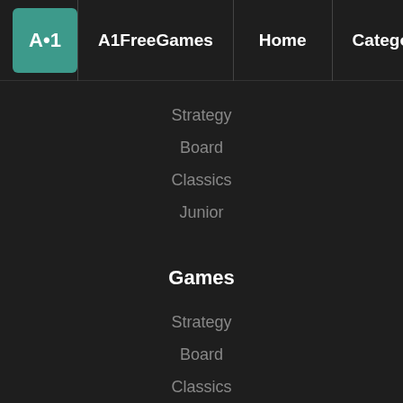A1FreeGames | Home | Categories
Strategy
Board
Classics
Junior
Games
Strategy
Board
Classics
Junior
Games
Most played
New games